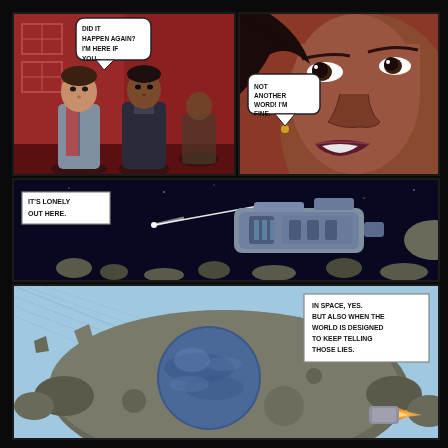[Figure (illustration): Comic book page panel 1: two characters in a red-tinted interior space. A man in a grey suit on the left, and another person in the center. Speech bubble reads: 'DID IT HAPPEN AGAIN? I'M HERE IF YOU--']
[Figure (illustration): Comic book page panel 2: close-up of a woman's face with brown skin. Speech bubble reads: 'NOT ANOTHER WORD! I'M FINE.']
[Figure (illustration): Comic book page panel 3: spaceship/spacecraft floating in dark space with asteroids and a comet. Caption box reads: 'IT'S LONELY OUT HERE.']
[Figure (illustration): Comic book page panel 4: large asteroid with a blue planet visible behind it in light blue space. A rocket thrust visible at lower right. Caption box reads: 'IN SPACE, YES. BUT ALSO WHEN THE WORLD IS DESIGNED TO KEEP TELLING THOSE LIES.']